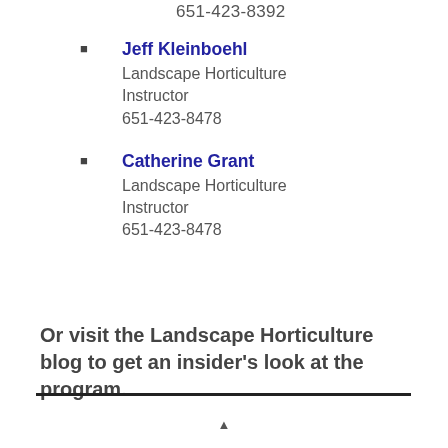651-423-8392
Jeff Kleinboehl
Landscape Horticulture Instructor
651-423-8478
Catherine Grant
Landscape Horticulture Instructor
651-423-8478
Or visit the Landscape Horticulture blog to get an insider’s look at the program.